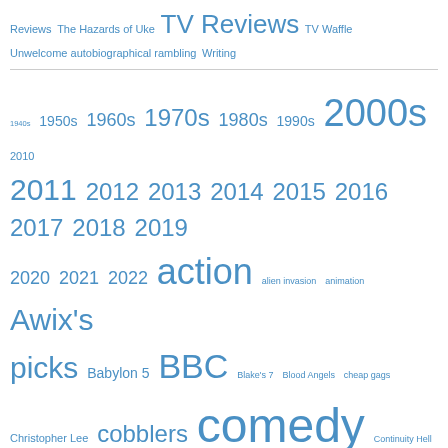Reviews  The Hazards of Uke  TV Reviews  TV Waffle  Unwelcome autobiographical rambling  Writing
1940s 1950s 1960s 1970s 1980s 1990s 2000s 2010 2011 2012 2013 2014 2015 2016 2017 2018 2019 2020 2021 2022 action alien invasion animation Awix's picks Babylon 5 BBC Blake's 7 Blood Angels cheap gags Christopher Lee cobblers comedy Continuity Hell costume drama DC Dispatches from the Front documentary Dracula drama fantasy Godzilla Hammer horror ITV James Bond Jason Statham J Michael Straczynski kung fu Liam Neeson Mark Strong martial arts Marvel Matt Damon melodrama Michael